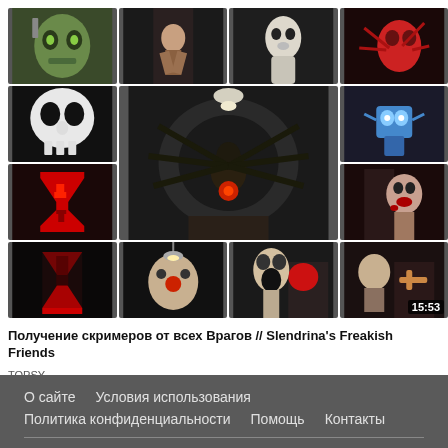[Figure (screenshot): Video thumbnail grid showing horror game screenshots arranged in a 4x4 grid with a large center image of a spider-like creature in a dark tunnel. Various scary game characters visible. Last thumbnail shows 15:53 duration badge.]
Получение скримеров от всех Врагов // Slendrina's Freakish Friends
TOPSY
Просмотров 77 тыс.
О сайте   Условия использования   Политика конфиденциальности   Помощь   Контакты